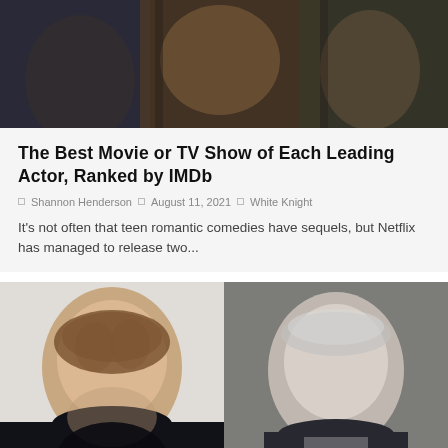[Figure (photo): Group photo of actors/people in a dark scene, partially visible at top]
The Best Movie or TV Show of Each Leading Actor, Ranked by IMDb
Shannon Henderson  August 11, 2021  White Knight
It's not often that teen romantic comedies have sequels, but Netflix has managed to release two...
[Figure (photo): Two headshot portraits side by side: left shows a younger curly-haired man smiling against a light background; right shows an older silver-haired man in a suit against a dark background]